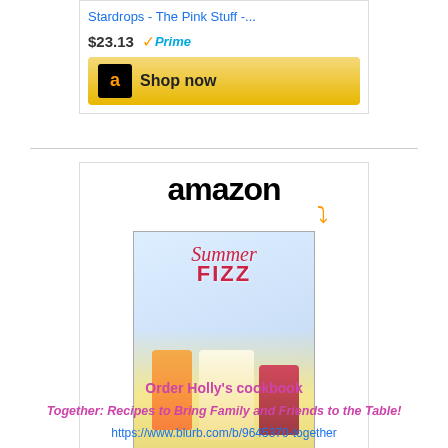[Figure (screenshot): Amazon product widget showing 'Stardrops - The Pink Stuff -...' priced at $23.13 with Prime badge and Shop now button]
[Figure (screenshot): Amazon product widget showing Summer Fizz book cover with amazon logo, product title 'Summer Fizz: Over 100...' priced at $14.99 with Prime badge and Shop now button]
Order Holly's cookbook
Together: Recipes to Bring Family and Friends to the Table!
https://www.blurb.com/b/9645370-together